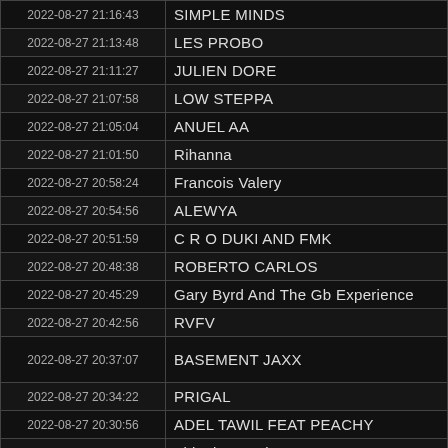| Timestamp | Artist |
| --- | --- |
| 2022-08-27 21:16:43 | SIMPLE MINDS |
| 2022-08-27 21:13:48 | LES PROBO |
| 2022-08-27 21:11:27 | JULIEN DORE |
| 2022-08-27 21:07:58 | LOW STEPPA |
| 2022-08-27 21:05:04 | ANUEL AA |
| 2022-08-27 21:01:50 | Rihanna |
| 2022-08-27 20:58:24 | Francois Valery |
| 2022-08-27 20:54:56 | ALEWYA |
| 2022-08-27 20:51:59 | C R O DUKI AND FMK |
| 2022-08-27 20:48:38 | ROBERTO CARLOS |
| 2022-08-27 20:45:29 | Gary Byrd And The Gb Experience |
| 2022-08-27 20:42:56 | RVFV |
| 2022-08-27 20:37:07 | BASEMENT JAXX |
| 2022-08-27 20:34:22 | PRIGAL |
| 2022-08-27 20:30:56 | ADEL TAWIL FEAT PEACHY |
| 2022-08-27 20:27:27 | Zbigniew Preisner |
| 2022-08-27 20:20:45 | Francois Feldman |
| 2022-08-27 20:17:50 | SUBWOOLFER |
| 2022-08-27 20:14:25 | GAZO FEAT TIAKOLA |